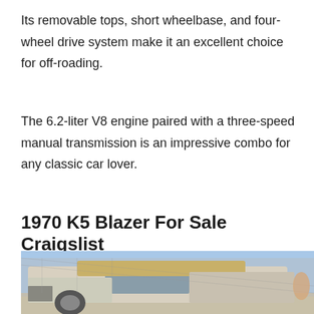Its removable tops, short wheelbase, and four-wheel drive system make it an excellent choice for off-roading.
The 6.2-liter V8 engine paired with a three-speed manual transmission is an impressive combo for any classic car lover.
1970 K5 Blazer For Sale Craigslist
[Figure (photo): A 1970 Chevrolet K5 Blazer photographed outdoors, showing a white/faded body with a tan hardtop, parked near a chain-link fence on a sunny day.]